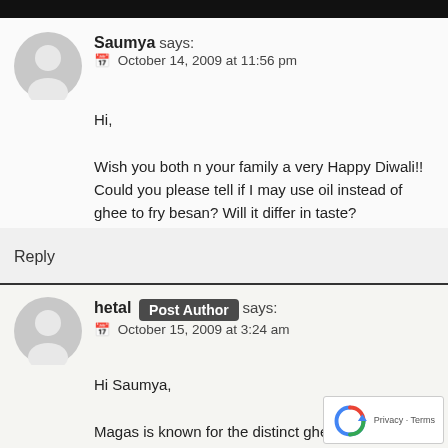Saumya says: October 14, 2009 at 11:56 pm
Hi,

Wish you both n your family a very Happy Diwali!!
Could you please tell if I may use oil instead of ghee to fry besan? Will it differ in taste?
Reply
hetal Post Author says: October 15, 2009 at 3:24 am
Hi Saumya,

Magas is known for the distinct ghee flavor so in our opinion, it would be an injustice to fry the besan in oil...